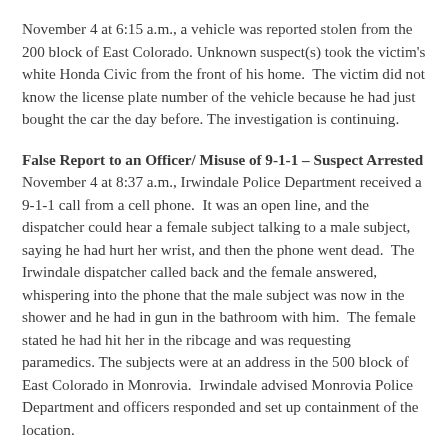November 4 at 6:15 a.m., a vehicle was reported stolen from the 200 block of East Colorado. Unknown suspect(s) took the victim's white Honda Civic from the front of his home.  The victim did not know the license plate number of the vehicle because he had just bought the car the day before. The investigation is continuing.
False Report to an Officer/ Misuse of 9-1-1 – Suspect Arrested
November 4 at 8:37 a.m., Irwindale Police Department received a 9-1-1 call from a cell phone.  It was an open line, and the dispatcher could hear a female subject talking to a male subject, saying he had hurt her wrist, and then the phone went dead.  The Irwindale dispatcher called back and the female answered, whispering into the phone that the male subject was now in the shower and he had in gun in the bathroom with him.  The female stated he had hit her in the ribcage and was requesting paramedics. The subjects were at an address in the 500 block of East Colorado in Monrovia.  Irwindale advised Monrovia Police Department and officers responded and set up containment of the location.
Monrovia dispatch called the residence and the male subject answered the phone.  He was asked to step outside.  The subject complied and calmly walked outside with his hands in the air; he